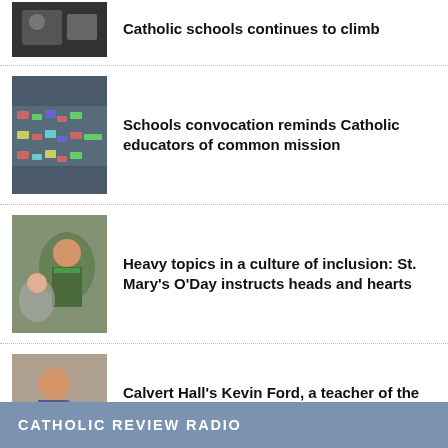[Figure (photo): Dark photo thumbnail of a person, partially visible at top]
Catholic schools continues to climb
[Figure (photo): Crowd of people seated in rows, overhead view]
Schools convocation reminds Catholic educators of common mission
[Figure (photo): Teacher in green speaking to students in classroom]
Heavy topics in a culture of inclusion: St. Mary's O'Day instructs heads and hearts
[Figure (photo): Man in suit holding up items, teacher of the year]
Calvert Hall's Kevin Ford, a teacher of the year for the Archdiocese of Baltimore, loves his job
CATHOLIC REVIEW RADIO